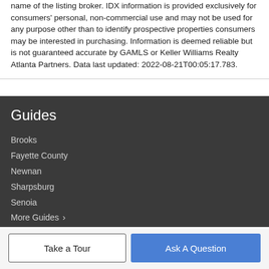name of the listing broker. IDX information is provided exclusively for consumers' personal, non-commercial use and may not be used for any purpose other than to identify prospective properties consumers may be interested in purchasing. Information is deemed reliable but is not guaranteed accurate by GAMLS or Keller Williams Realty Atlanta Partners. Data last updated: 2022-08-21T00:05:17.783.
Guides
Brooks
Fayette County
Newnan
Sharpsburg
Senoia
More Guides >
Take a Tour
Ask A Question